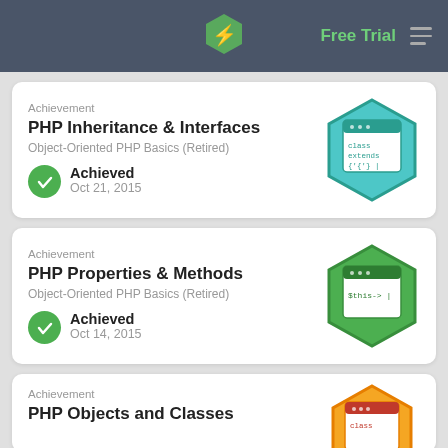Free Trial
Achievement
PHP Inheritance & Interfaces
Object-Oriented PHP Basics (Retired)
Achieved
Oct 21, 2015
[Figure (illustration): Teal hexagonal badge with a code window icon showing 'class extends {|']
Achievement
PHP Properties & Methods
Object-Oriented PHP Basics (Retired)
Achieved
Oct 14, 2015
[Figure (illustration): Green hexagonal badge with a code window icon showing '$this->|']
Achievement
PHP Objects and Classes
[Figure (illustration): Orange hexagonal badge with a code window icon showing 'class']